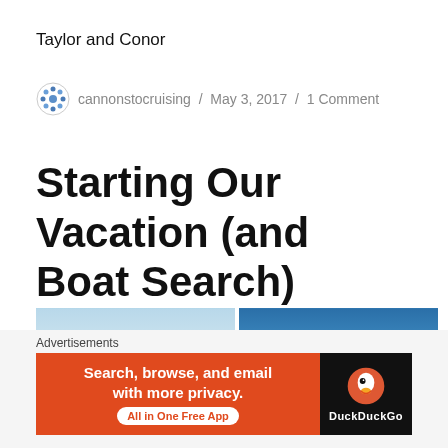Taylor and Conor
cannonstocruising / May 3, 2017 / 1 Comment
Starting Our Vacation (and Boat Search)
[Figure (photo): Two side-by-side outdoor photos showing sky scenes]
Advertisements
[Figure (screenshot): DuckDuckGo advertisement banner: Search, browse, and email with more privacy. All in One Free App]